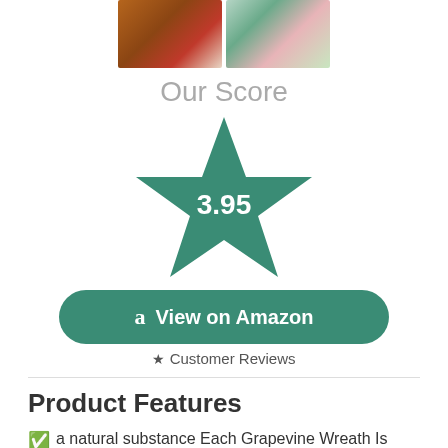[Figure (photo): Two product photos of grapevine wreaths at top of page — left wreath with red berries, right with flowers and green leaves]
Our Score
[Figure (infographic): Large teal/green star shape with the score 3.95 displayed in white text in the center]
[Figure (infographic): Teal rounded rectangle button with Amazon 'a' logo and text 'View on Amazon']
★ Customer Reviews
Product Features
a natural substance Each Grapevine Wreath Is Hand-Woven From Natural Vines, Making It Sturdy And Durable, Strong And Not Easily Deformed, Natural Environmental Protection, And Decorative.